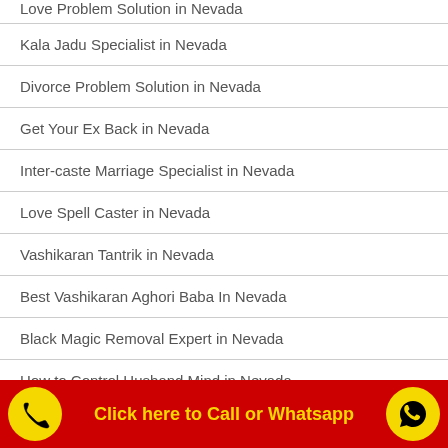Love Problem Solution in Nevada
Kala Jadu Specialist in Nevada
Divorce Problem Solution in Nevada
Get Your Ex Back in Nevada
Inter-caste Marriage Specialist in Nevada
Love Spell Caster in Nevada
Vashikaran Tantrik in Nevada
Best Vashikaran Aghori Baba In Nevada
Black Magic Removal Expert in Nevada
How to Control Husband Mind in Nevada
Click here to Call or Whatsapp